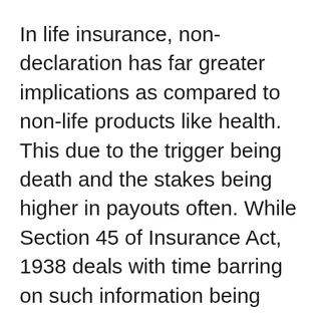In life insurance, non-declaration has far greater implications as compared to non-life products like health. This due to the trigger being death and the stakes being higher in payouts often. While Section 45 of Insurance Act, 1938 deals with time barring on such information being discovered by the insurer post-policy sale, it is advisable for policyholders to note the implications of such a